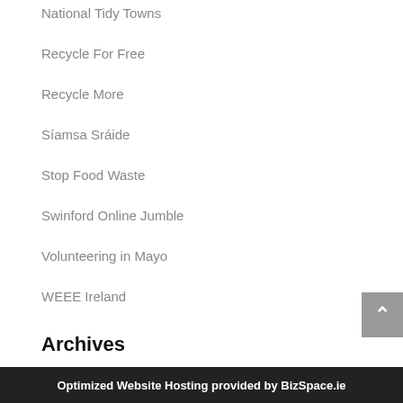National Tidy Towns
Recycle For Free
Recycle More
Síamsa Sráide
Stop Food Waste
Swinford Online Jumble
Volunteering in Mayo
WEEE Ireland
Archives
This website uses cookies to improve your experience. We'll assume you're ok with this, but you can opt-out if you wish.
Optimized Website Hosting provided by BizSpace.ie